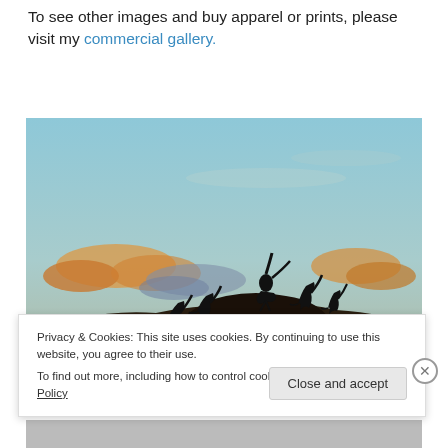To see other images and buy apparel or prints, please visit my commercial gallery.
[Figure (photo): Silhouettes of several birds perched on top of a mound/nest against a twilight sky with orange-tinted clouds and blue-gray tones.]
Privacy & Cookies: This site uses cookies. By continuing to use this website, you agree to their use.
To find out more, including how to control cookies, see here: Cookie Policy